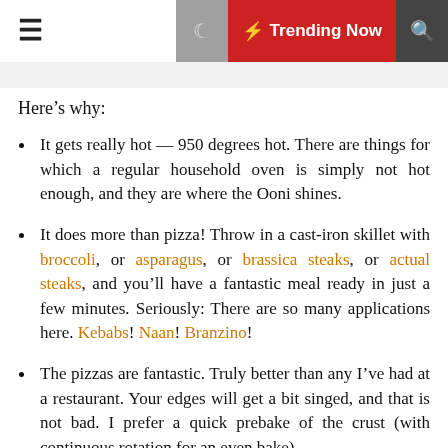☰  🌙  ⚡ Trending Now  🔍
Here's why:
It gets really hot — 950 degrees hot. There are things for which a regular household oven is simply not hot enough, and they are where the Ooni shines.
It does more than pizza! Throw in a cast-iron skillet with broccoli, or asparagus, or brassica steaks, or actual steaks, and you'll have a fantastic meal ready in just a few minutes. Seriously: There are so many applications here. Kebabs! Naan! Branzino!
The pizzas are fantastic. Truly better than any I've had at a restaurant. Your edges will get a bit singed, and that is not bad. I prefer a quick prebake of the crust (with continuous rotation for an even bake) before adding any toppings.